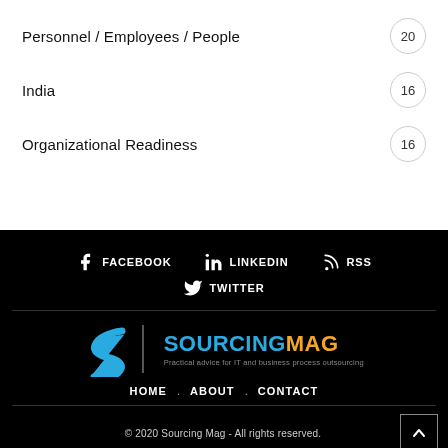Personnel / Employees / People  20
India  16
Organizational Readiness  16
[Figure (logo): Social media links: Facebook, LinkedIn, RSS, Twitter on black background]
[Figure (logo): Sourcing Mag logo with S icon and tagline: Practical advice for IT and business process outsourcing]
HOME . ABOUT . CONTACT
© 2020 Sourcing Mag - All rights reserved.